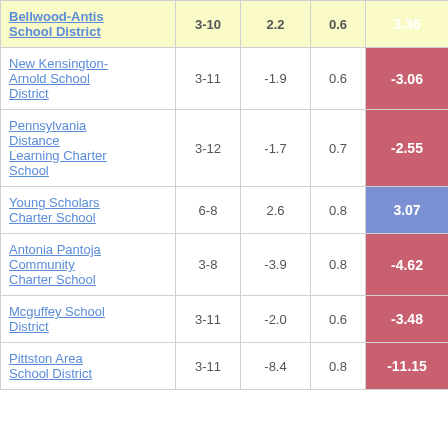| School/District | Grades | Avg Change | Weight | Score |
| --- | --- | --- | --- | --- |
| Bellwood-Antis School District | 3-10 | 2.2 | 0.6 | 3.36 |
| New Kensington-Arnold School District | 3-11 | -1.9 | 0.6 | -3.06 |
| Pennsylvania Distance Learning Charter School | 3-12 | -1.7 | 0.7 | -2.55 |
| Young Scholars Charter School | 6-8 | 2.6 | 0.8 | 3.07 |
| Antonia Pantoja Community Charter School | 3-8 | -3.9 | 0.8 | -4.62 |
| Mcguffey School District | 3-11 | -2.0 | 0.6 | -3.48 |
| Pittston Area School District | 3-11 | -8.4 | 0.8 | -11.15 |